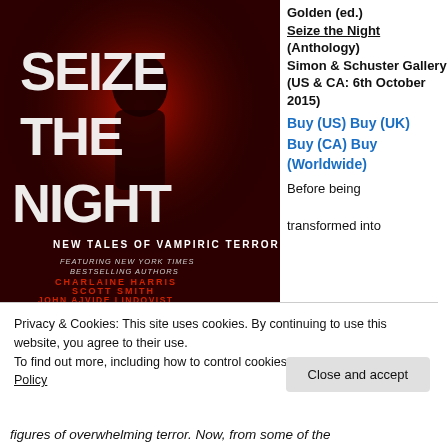[Figure (illustration): Book cover for 'Seize the Night: New Tales of Vampiric Terror'. Dark background with a shadowy figure in red, bold white distressed lettering. Features authors: Charlaine Harris, Scott Smith, John Ajvide Lindqvist. Edited by Golden.]
Golden (ed.)
Seize the Night (Anthology)
Simon & Schuster Gallery (US & CA: 6th October 2015)
Buy (US) Buy (UK) Buy (CA) Buy (Worldwide)
Before being transformed into
Privacy & Cookies: This site uses cookies. By continuing to use this website, you agree to their use.
To find out more, including how to control cookies, see here: Cookie Policy
figures of overwhelming terror. Now, from some of the